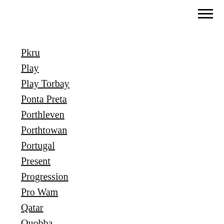Pkru
Play
Play Torbay
Ponta Preta
Porthleven
Porthtowan
Portugal
Present
Progression
Pro Wam
Qatar
Quobba
Quobbafins
Race
Racing
Recovery
Red Bull